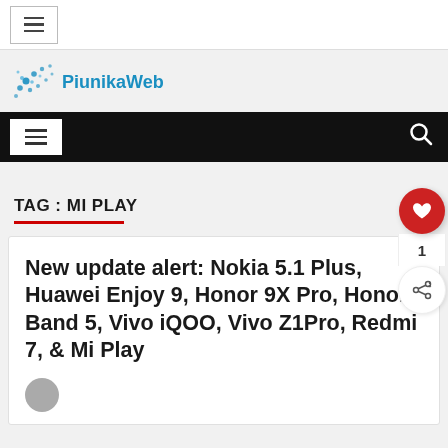[Figure (logo): Hamburger menu icon in top white bar]
[Figure (logo): PiunikaWeb logo with blue dot cluster icon and blue text]
PiunikaWeb navigation bar with hamburger menu and search icon
TAG : MI PLAY
New update alert: Nokia 5.1 Plus, Huawei Enjoy 9, Honor 9X Pro, Honor Band 5, Vivo iQOO, Vivo Z1Pro, Redmi 7, & Mi Play